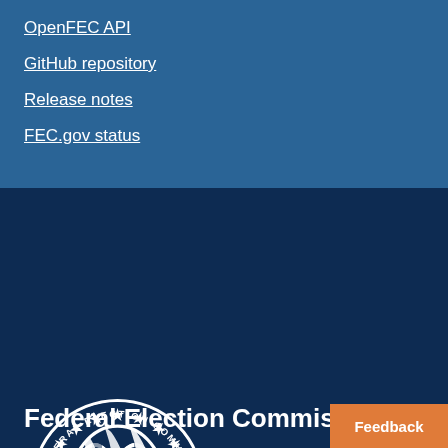OpenFEC API
GitHub repository
Release notes
FEC.gov status
[Figure (logo): Federal Election Commission seal — circular seal with stars, stripes, and text reading 'FEDERAL ELECTION COMMISSION' and 'UNITED STATES OF AMERICA']
Federal Election Commission
Feedback